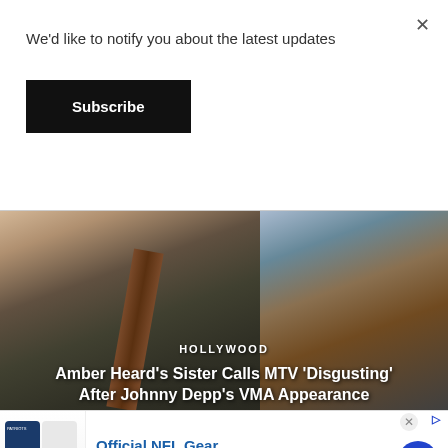We'd like to notify you about the latest updates
Subscribe
[Figure (photo): Two side-by-side celebrity photos. Left: woman in dark top with necklace and brown leather strap bag. Right: man in brown leather jacket with patterned scarf. Text overlay reads 'HOLLYWOOD' and article headline.]
Amber Heard's Sister Calls MTV 'Disgusting' After Johnny Depp's VMA Appearance
[Figure (photo): Advertisement for Official NFL Gear showing football jerseys and a circular arrow button. Ad text: 'Official NFL Gear', 'Get Your Favorite Team's Gear Here', 'www.nflshop.com']